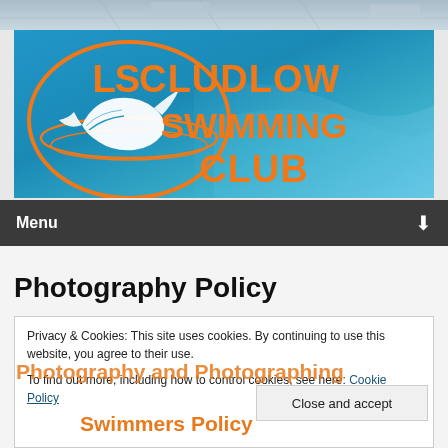[Figure (photo): Top strip showing a swimming pool ceiling/roof structure in muted grey-blue tones]
[Figure (logo): Ludlow Swimming Club logo banner: blue background with orange LSC oval logo featuring a white dolphin and orange text reading LUDLOW SWIMMING CLUB]
Menu ▼
Photography Policy
Privacy & Cookies: This site uses cookies. By continuing to use this website, you agree to their use.
To find out more, including how to control cookies, see here: Cookie Policy
Photography and Photographing
Swimmers Policy
Close and accept